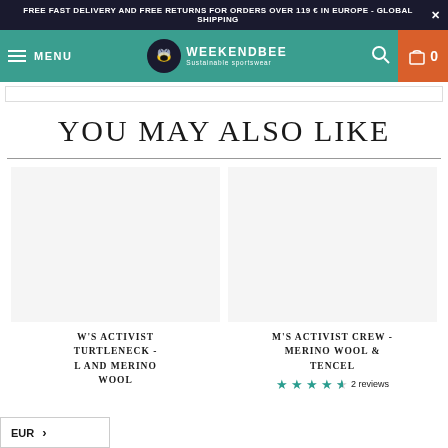FREE FAST DELIVERY AND FREE RETURNS FOR ORDERS OVER 119 € IN EUROPE - GLOBAL SHIPPING
[Figure (logo): Weekendbee sustainable sportswear logo with bee icon, teal navigation bar with menu, search, and cart icons]
YOU MAY ALSO LIKE
W'S ACTIVIST TURTLENECK - [L AND MERINO WOOL
M'S ACTIVIST CREW - MERINO WOOL & TENCEL
2 reviews